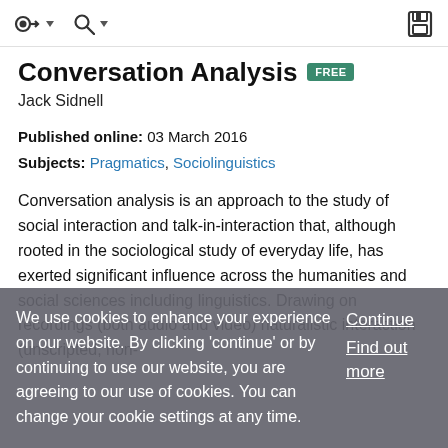navigation icons and save icon
Conversation Analysis FREE
Jack Sidnell
Published online: 03 March 2016
Subjects: Pragmatics, Sociolinguistics
Conversation analysis is an approach to the study of social interaction and talk-in-interaction that, although rooted in the sociological study of everyday life, has exerted significant influence across the humanities and social sciences including linguistics. Drawing on recordings (both audio and video) naturalistic interaction (unscripted, non-
We use cookies to enhance your experience on our website. By clicking 'continue' or by continuing to use our website, you are agreeing to our use of cookies. You can change your cookie settings at any time.
Continue
Find out more